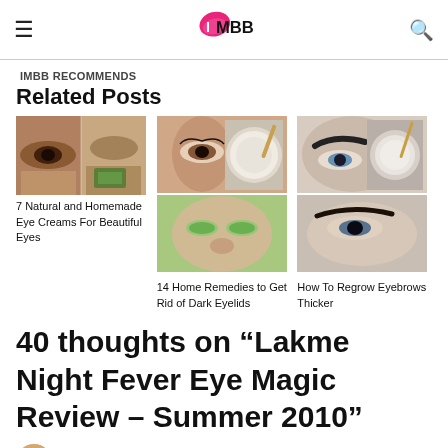IMBB
IMBB RECOMMENDS
Related Posts
[Figure (photo): Collage of eye close-ups and eye cream products for '7 Natural and Homemade Eye Creams For Beautiful Eyes']
7 Natural and Homemade Eye Creams For Beautiful Eyes
[Figure (photo): Collage of eye patches, eye cream product, and woman applying eye patches for '14 Home Remedies to Get Rid of Dark Eyelids']
14 Home Remedies to Get Rid of Dark Eyelids
[Figure (photo): Collage of thick eyebrows close-up and eyebrow cream product for 'How To Regrow Eyebrows Thicker']
How To Regrow Eyebrows Thicker
40 thoughts on “Lakme Night Fever Eye Magic Review – Summer 2010”